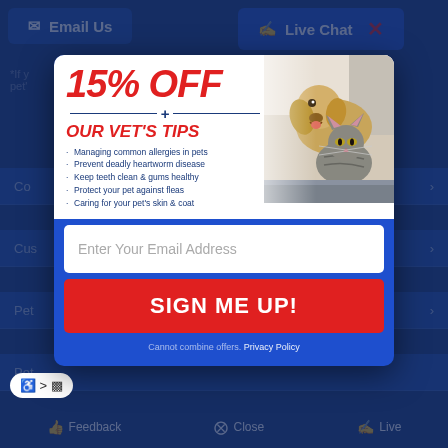[Figure (screenshot): Website popup modal on a pet supplies website with dark blue background. Shows Email Us and Live Chat navigation buttons at top. A promotional popup offers 15% OFF plus vet tips, with an image of a dog and cat.]
15% OFF
+ OUR VET'S TIPS
Managing common allergies in pets
Prevent deadly heartworm disease
Keep teeth clean & gums healthy
Protect your pet against fleas
Caring for your pet's skin & coat
Enter Your Email Address
SIGN ME UP!
Cannot combine offers. Privacy Policy
Feedback   Close   Live